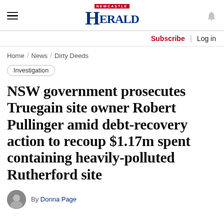Newcastle Herald
Subscribe | Log in
Home / News / Dirty Deeds
Investigation
NSW government prosecutes Truegain site owner Robert Pullinger amid debt-recovery action to recoup $1.17m spent containing heavily-polluted Rutherford site
By Donna Page